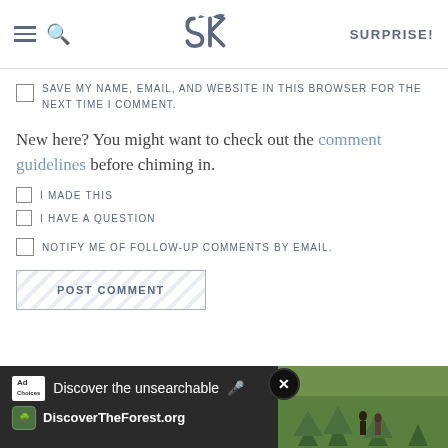SK logo, hamburger menu, search icon, SURPRISE!
SAVE MY NAME, EMAIL, AND WEBSITE IN THIS BROWSER FOR THE NEXT TIME I COMMENT.
New here? You might want to check out the comment guidelines before chiming in.
I MADE THIS
I HAVE A QUESTION
NOTIFY ME OF FOLLOW-UP COMMENTS BY EMAIL.
POST COMMENT
[Figure (screenshot): Advertisement banner: 'Discover the unsearchable' with DiscoverTheForest.org URL and outdoor photo of hikers in a forest, with a close button (X).]